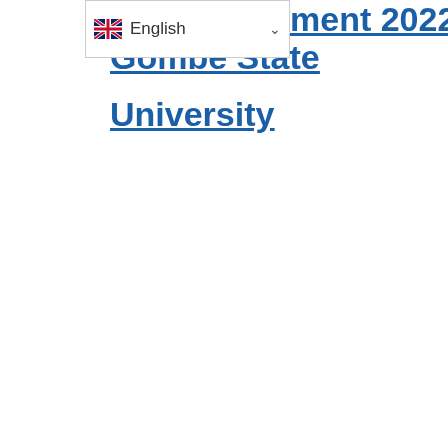[Figure (screenshot): English language selector dropdown widget with UK flag icon and dropdown arrow]
ment 2022/2023 | Gombe State University